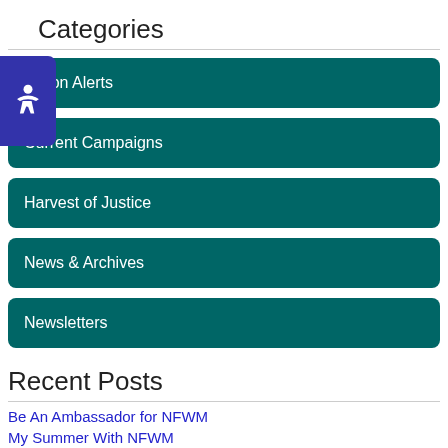Categories
Action Alerts
Current Campaigns
Harvest of Justice
News & Archives
Newsletters
Recent Posts
Be An Ambassador for NFWM
My Summer With NFWM